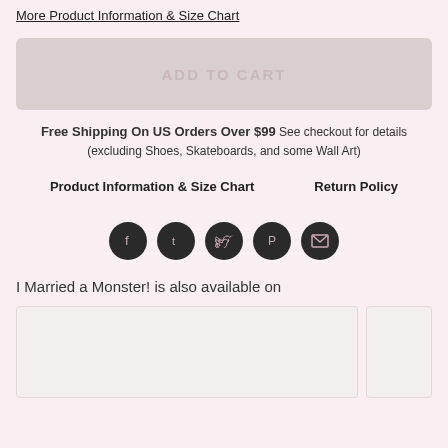More Product Information & Size Chart
ADD TO CART
Free Shipping On US Orders Over $99 See checkout for details (excluding Shoes, Skateboards, and some Wall Art)
Product Information & Size Chart
Return Policy
[Figure (infographic): Five circular dark social media share icons: Facebook, Tumblr, Twitter, Pinterest, Email]
I Married a Monster! is also available on
[Figure (other): Two store/platform logo placeholder boxes side by side]